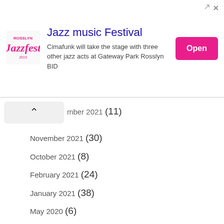[Figure (screenshot): Jazz music Festival advertisement banner with Rosslyn Jazzfest logo, text about Cimafunk taking the stage with three other jazz acts at Gateway Park Rosslyn BID, and an Open button]
mber 2021 (11)
November 2021 (30)
October 2021 (8)
February 2021 (24)
January 2021 (38)
May 2020 (6)
April 2020 (17)
November 2019 (15)
September 2019 (47)
August 2019 (7)
July 2019 (35)
May 2019 (44)
April 2019 (62)
March 2019 (63)